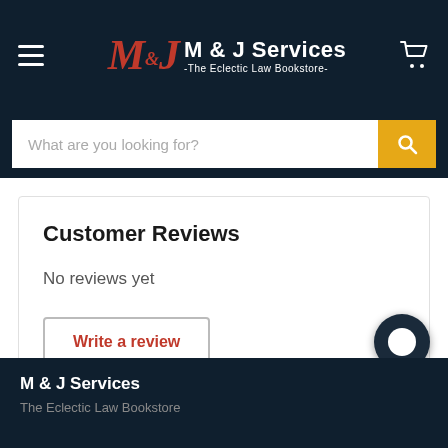M & J Services -The Eclectic Law Bookstore-
What are you looking for?
Customer Reviews
No reviews yet
Write a review
M & J Services
The Eclectic Law Bookstore